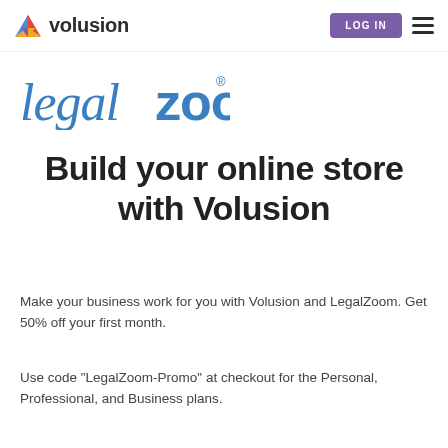Volusion — LOG IN
[Figure (logo): LegalZoom logo — 'legal' in blue italic serif font, 'zoom' in blue bold sans-serif font, with registered trademark symbol]
Build your online store with Volusion
Make your business work for you with Volusion and LegalZoom. Get 50% off your first month.
Use code "LegalZoom-Promo" at checkout for the Personal, Professional, and Business plans.